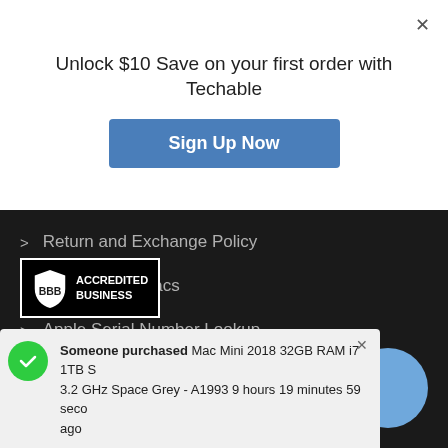Unlock $10 Save on your first order with Techable
[Figure (screenshot): Sign Up Now button - blue rounded rectangle]
> Return and Exchange Policy
> Refurbished Macs
> Apple Serial Number Lookup
> Contact Us
> Quality Standards
[Figure (logo): BBB Accredited Business badge - black box with BBB logo and text ACCREDITED BUSINESS]
Someone purchased Mac Mini 2018 32GB RAM i7 1TB S 3.2 GHz Space Grey - A1993 9 hours 19 minutes 59 seconds ago